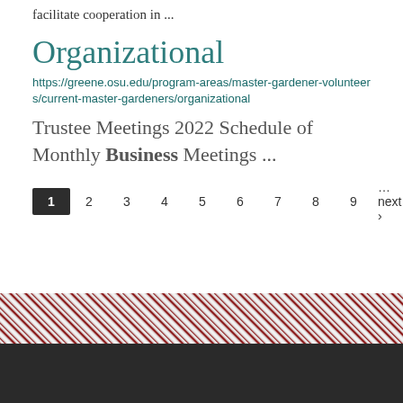facilitate cooperation in ...
Organizational
https://greene.osu.edu/program-areas/master-gardener-volunteers/current-master-gardeners/organizational
Trustee Meetings 2022 Schedule of Monthly Business Meetings ...
1 2 3 4 5 6 7 8 9 …next › last »
LOCATE AN OFFICE